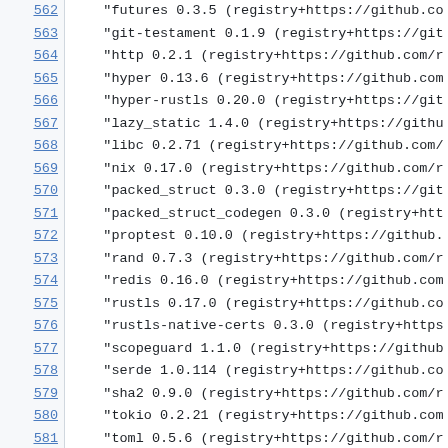| 562 | "futures 0.3.5 (registry+https://github.co |
| 563 | "git-testament 0.1.9 (registry+https://git |
| 564 | "http 0.2.1 (registry+https://github.com/r |
| 565 | "hyper 0.13.6 (registry+https://github.com |
| 566 | "hyper-rustls 0.20.0 (registry+https://git |
| 567 | "lazy_static 1.4.0 (registry+https://githu |
| 568 | "libc 0.2.71 (registry+https://github.com/ |
| 569 | "nix 0.17.0 (registry+https://github.com/r |
| 570 | "packed_struct 0.3.0 (registry+https://git |
| 571 | "packed_struct_codegen 0.3.0 (registry+htt |
| 572 | "proptest 0.10.0 (registry+https://github. |
| 573 | "rand 0.7.3 (registry+https://github.com/r |
| 574 | "redis 0.16.0 (registry+https://github.com |
| 575 | "rustls 0.17.0 (registry+https://github.co |
| 576 | "rustls-native-certs 0.3.0 (registry+https |
| 577 | "scopeguard 1.1.0 (registry+https://github |
| 578 | "serde 1.0.114 (registry+https://github.co |
| 579 | "sha2 0.9.0 (registry+https://github.com/r |
| 580 | "tokio 0.2.21 (registry+https://github.com |
| 581 | "toml 0.5.6 (registry+https://github.com/r |
| 582 | "tower-service 0.3.0 (registry+https://git |